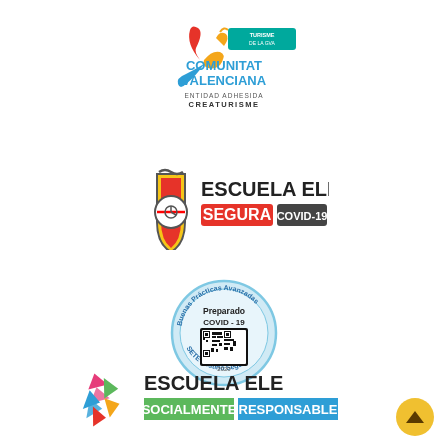[Figure (logo): Comunitat Valenciana tourism logo with colorful figure and text 'ENTIDAD ADHESIDA CREATURISME']
[Figure (logo): Escuela ELE Segura COVID-19 certification badge with shield icon]
[Figure (logo): Buenas Practicas Avanzadas - Preparado COVID-19 circular seal with QR code]
[Figure (logo): Escuela ELE Socialmente Responsable logo with colorful geometric star]
[Figure (other): Yellow circular scroll-to-top button with up arrow]